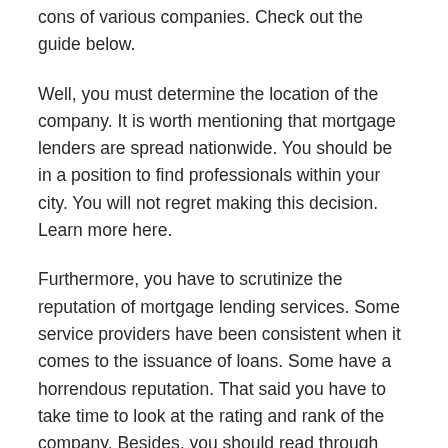cons of various companies. Check out the guide below.
Well, you must determine the location of the company. It is worth mentioning that mortgage lenders are spread nationwide. You should be in a position to find professionals within your city. You will not regret making this decision. Learn more here.
Furthermore, you have to scrutinize the reputation of mortgage lending services. Some service providers have been consistent when it comes to the issuance of loans. Some have a horrendous reputation. That said you have to take time to look at the rating and rank of the company. Besides, you should read through comments shared by other clients.
Thirdly, you have to scrutinize the interest rates offered by the company. Some people opt to ignore this aspect when it comes to mortgage loans. This tends to backfire in the long run due to financial constraints. Feel free to find out the variations in rates among